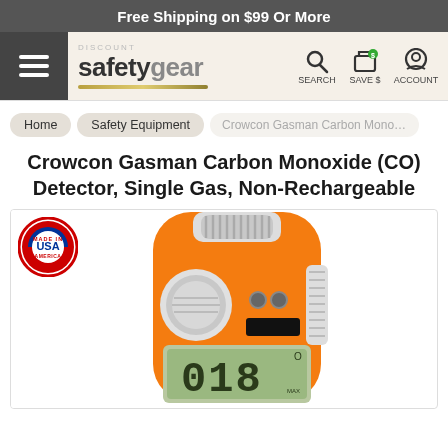Free Shipping on $99 Or More
[Figure (logo): Discount Safety Gear logo with hamburger menu, search, save $, and account icons in navigation bar]
Home | Safety Equipment | Crowcon Gasman Carbon Monoxid...
Crowcon Gasman Carbon Monoxide (CO) Detector, Single Gas, Non-Rechargeable
[Figure (photo): Orange Crowcon Gasman Carbon Monoxide (CO) gas detector with LCD display showing readings, single gas non-rechargeable device, shown with Made in USA badge]